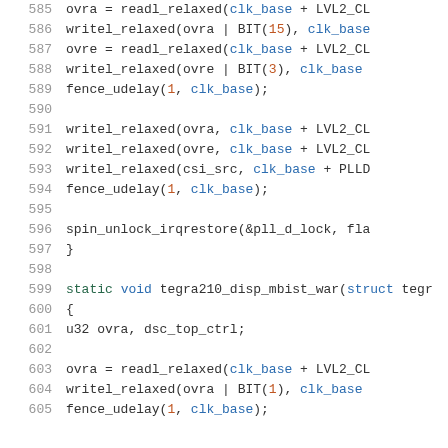Code listing lines 585-605, C source code showing clock/PLL manipulation functions including readl_relaxed, writel_relaxed, fence_udelay, spin_unlock_irqrestore calls, and tegra210_disp_mbist_war function definition.